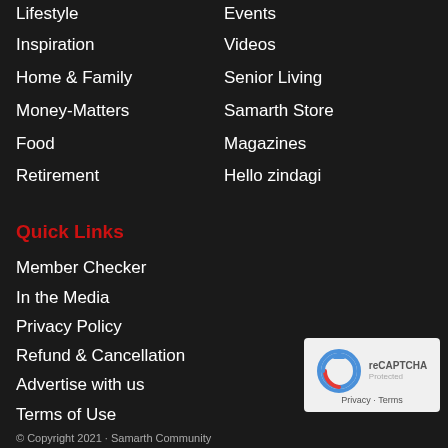Lifestyle
Events
Inspiration
Videos
Home & Family
Senior Living
Money-Matters
Samarth Store
Food
Magazines
Retirement
Hello zindagi
Quick Links
Member Checker
In the Media
Privacy Policy
Refund & Cancellation
Advertise with us
Terms of Use
[Figure (other): reCAPTCHA widget with circular arrow logo, Privacy and Terms links]
© Copyright 2021 · Samarth Community